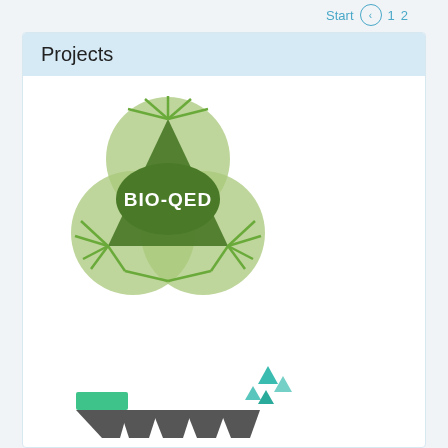Start 1 2
Projects
[Figure (logo): BIO-QED logo: three overlapping light green circles/ovals forming a trefoil shape with a darker green triangular inner region divided by radiating lines, and a central ellipse with 'BIO-QED' in white bold text]
[Figure (logo): HyperBioCoat logo: row of dark grey downward-pointing triangles/chevrons with a green rectangle above the first, and teal/green small triangles floating above, with text 'HyperBioCoat' below in bold dark grey and teal/orange colors]